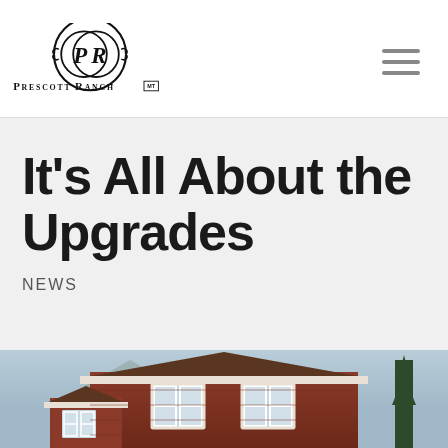[Figure (logo): Prescott Ranch logo with intertwined PR letters in circular design and 'PRESCOTT RANCH MT' text below]
It’s All About the Upgrades
NEWS
[Figure (photo): Photo of a house with dark red/barn-style siding, white-trimmed windows, set against a mountain backdrop with blue sky]